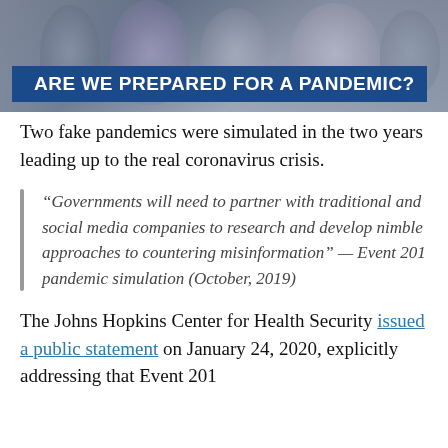[Figure (photo): Blurred crowd of people in background behind a dark overlay, with 'ARE WE PREPARED FOR A PANDEMIC?' news headline bar in white text on blue background]
Two fake pandemics were simulated in the two years leading up to the real coronavirus crisis.
“Governments will need to partner with traditional and social media companies to research and develop nimble approaches to countering misinformation” — Event 201 pandemic simulation (October, 2019)
The Johns Hopkins Center for Health Security issued a public statement on January 24, 2020, explicitly addressing that Event 201